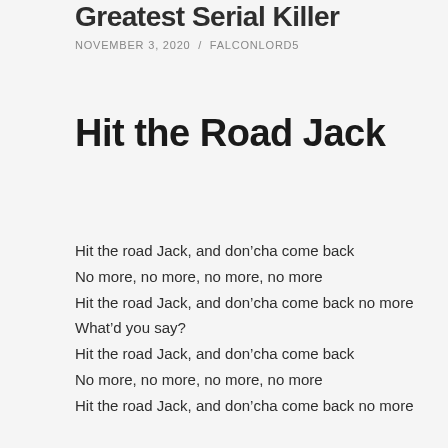Greatest Serial Killer
NOVEMBER 3, 2020 / FALCONLORD5
Hit the Road Jack
Hit the road Jack, and don'cha come back
No more, no more, no more, no more
Hit the road Jack, and don'cha come back no more
What'd you say?
Hit the road Jack, and don'cha come back
No more, no more, no more, no more
Hit the road Jack, and don'cha come back no more